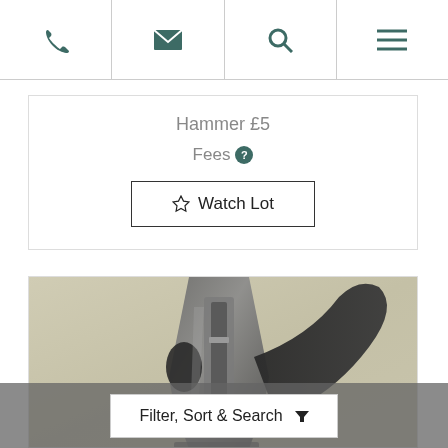Navigation bar with phone, email, search, and menu icons
Hammer £5
Fees ?
☆ Watch Lot
[Figure (photo): Close-up photograph of a hand plane (woodworking tool) showing the metal body, blade, and wooden handle against a light wooden background]
Filter, Sort & Search